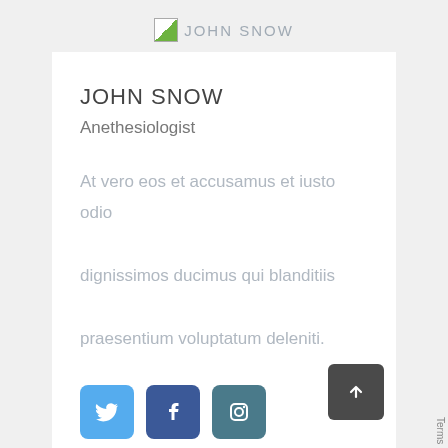JOHN SNOW
JOHN SNOW
Anethesiologist
At vero eos et accusamus et iusto odio dignissimos ducimus qui blanditiis praesentium voluptatum deleniti.
[Figure (other): Social media icon buttons: Twitter (blue bird icon), Facebook (dark blue f icon), Instagram (teal camera icon)]